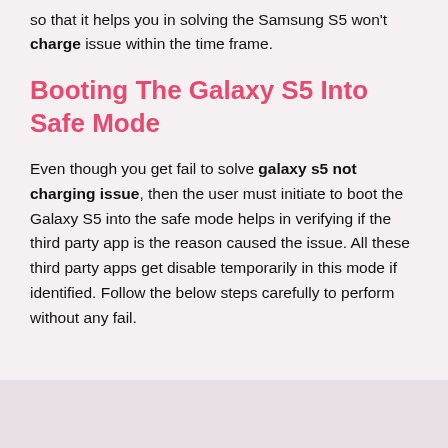so that it helps you in solving the Samsung S5 won't charge issue within the time frame.
Booting The Galaxy S5 Into Safe Mode
Even though you get fail to solve galaxy s5 not charging issue, then the user must initiate to boot the Galaxy S5 into the safe mode helps in verifying if the third party app is the reason caused the issue. All these third party apps get disable temporarily in this mode if identified. Follow the below steps carefully to perform without any fail.